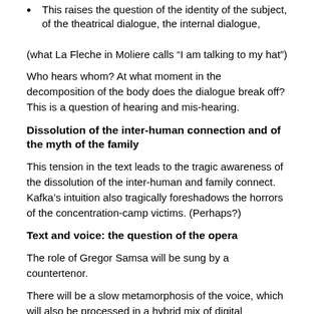This raises the question of the identity of the subject, of the theatrical dialogue, the internal dialogue,
(what La Fleche in Moliere calls “I am talking to my hat”)
Who hears whom? At what moment in the decomposition of the body does the dialogue break off? This is a question of hearing and mis-hearing.
Dissolution of the inter-human connection and of the myth of the family
This tension in the text leads to the tragic awareness of the dissolution of the inter-human and family connect. Kafka’s intuition also tragically foreshadows the horrors of the concentration-camp victims. (Perhaps?)
Text and voice: the question of the opera
The role of Gregor Samsa will be sung by a countertenor.
There will be a slow metamorphosis of the voice, which will also be processed in a hybrid mix of digital technology and musical instruments. It will not be a question of imitating the cries of animals but rather to use the hybrid principles that I began to develop in my previous operas: tambourine